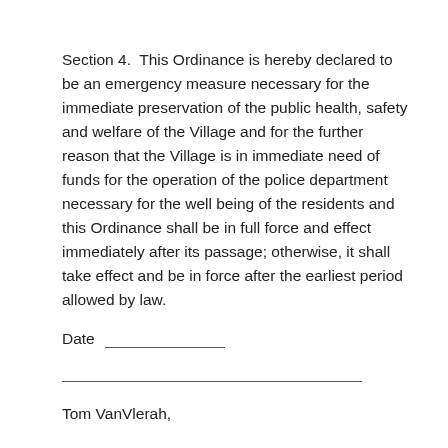Section 4.  This Ordinance is hereby declared to be an emergency measure necessary for the immediate preservation of the public health, safety and welfare of the Village and for the further reason that the Village is in immediate need of funds for the operation of the police department necessary for the well being of the residents and this Ordinance shall be in full force and effect immediately after its passage; otherwise, it shall take effect and be in force after the earliest period allowed by law.
Date _______________
Tom VanVlerah,